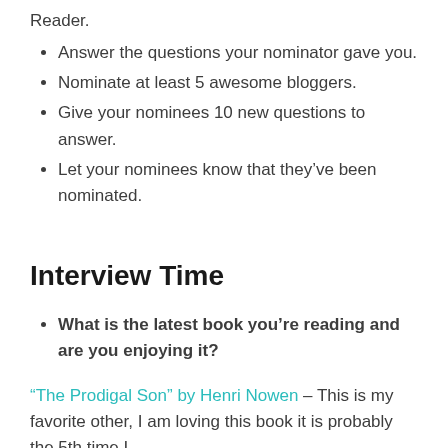Reader.
Answer the questions your nominator gave you.
Nominate at least 5 awesome bloggers.
Give your nominees 10 new questions to answer.
Let your nominees know that they've been nominated.
Interview Time
What is the latest book you're reading and are you enjoying it?
"The Prodigal Son" by Henri Nowen – This is my favorite other, I am loving this book it is probably the 5th time I